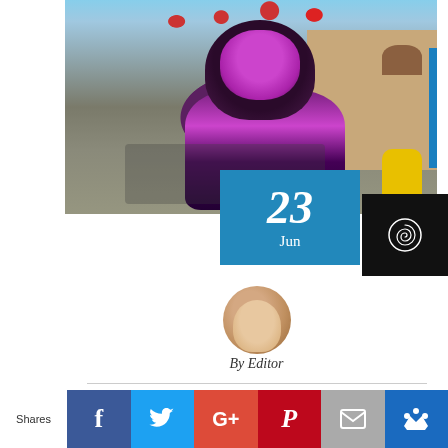[Figure (photo): Outdoor cultural festival featuring a lion dance performance. A colorful lion dance costume (black and purple) is prominent in the foreground. Red balloons hang in the background. An American flag and event banners are visible. People in formal attire stand in the background near a tan/adobe-style building. A yellow lantern object is visible at right.]
23
Jun
[Figure (logo): Black panel with a circular spiral/swirl icon in white]
[Figure (photo): Circular avatar photo of a woman with short hair, smiling]
By Editor
No Comments
Shares